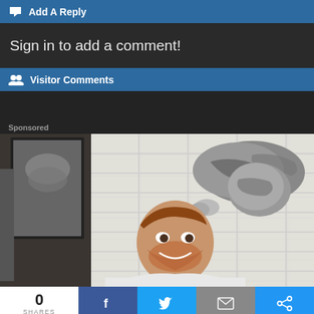Add A Reply
Sign in to add a comment!
Visitor Comments
Sponsored
[Figure (photo): A man with a beard smiling in a bathroom while a cat stands on the counter and touches his hair. A mirror reflection is visible on the left.]
0 SHARES